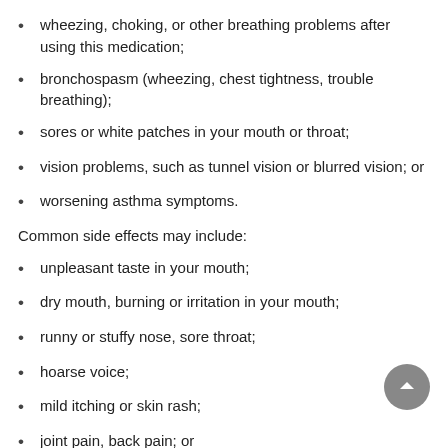wheezing, choking, or other breathing problems after using this medication;
bronchospasm (wheezing, chest tightness, trouble breathing);
sores or white patches in your mouth or throat;
vision problems, such as tunnel vision or blurred vision; or
worsening asthma symptoms.
Common side effects may include:
unpleasant taste in your mouth;
dry mouth, burning or irritation in your mouth;
runny or stuffy nose, sore throat;
hoarse voice;
mild itching or skin rash;
joint pain, back pain; or
headache.
This is not a complete list of side effects and others may occur